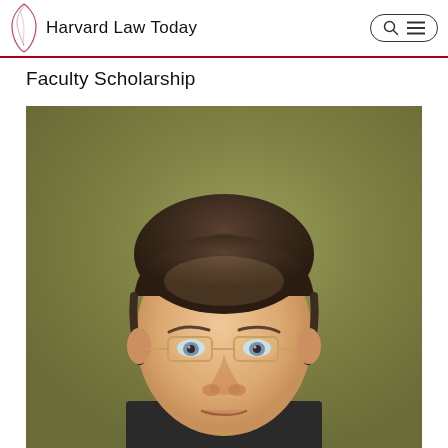Harvard Law Today
Faculty Scholarship
[Figure (photo): Portrait photo of a man with brown hair wearing glasses, photographed against an olive/khaki green background. The photo shows him from the shoulders up, with a slightly downward gaze.]